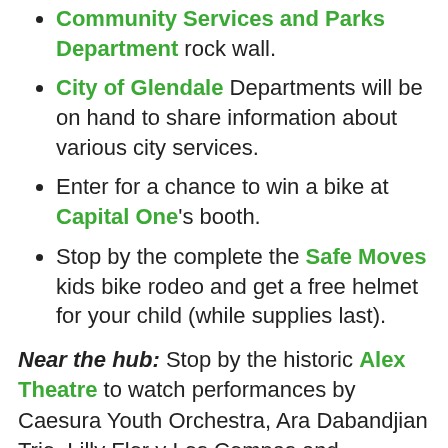Community Services and Parks Department rock wall.
City of Glendale Departments will be on hand to share information about various city services.
Enter for a chance to win a bike at Capital One's booth.
Stop by the complete the Safe Moves kids bike rodeo and get a free helmet for your child (while supplies last).
Near the hub: Stop by the historic Alex Theatre to watch performances by Caesura Youth Orchestra, Ara Dabandjian Trio, Lilly Flor y Los Compas and Pakaraguian Kulintang Ensemble:
9:00 - 9:50 am (50 min)